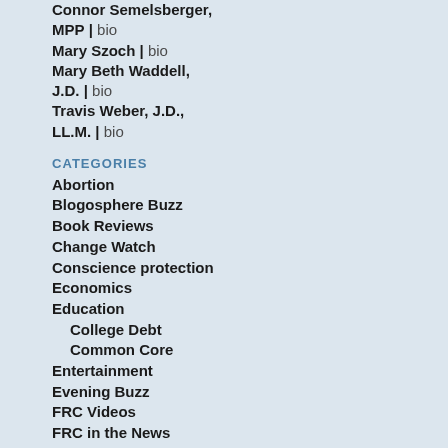Connor Semelsberger, MPP | bio
Mary Szoch | bio
Mary Beth Waddell, J.D. | bio
Travis Weber, J.D., LL.M. | bio
CATEGORIES
Abortion
Blogosphere Buzz
Book Reviews
Change Watch
Conscience protection
Economics
Education
College Debt
Common Core
Entertainment
Evening Buzz
FRC Videos
FRC in the News
Family